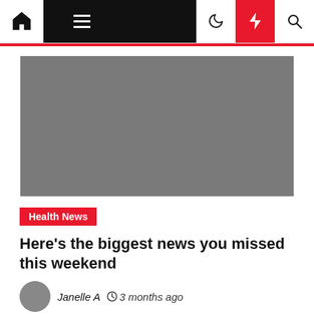Navigation bar with home, menu, dark mode, lightning/breaking news, and search icons
[Figure (photo): Large grey placeholder hero image for news article]
Health News
Here's the biggest news you missed this weekend
Janelle A  3 months ago